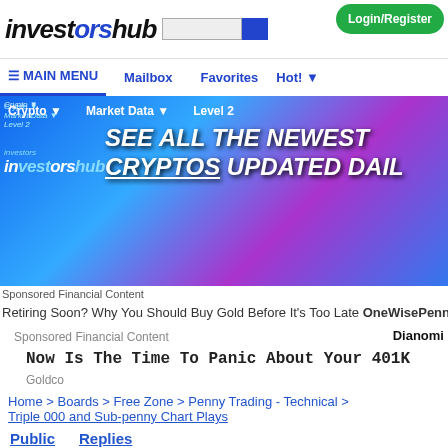InvestorsHub - MAIN MENU | Mailbox | Favorites | Hot! | Login/Register
[Figure (screenshot): InvestorsHub banner ad: SEE ALL THE NEWEST CRYPTOS UPDATED DAILY]
Sponsored Financial Content
Retiring Soon? Why You Should Buy Gold Before It's Too Late OneWisePenny.com
Sponsored Financial Content
Dianomi
Now Is The Time To Panic About Your 401K
Goldco
Home > Boards > Free Zone > Penny Trading - Technical > Triple 000 and Sub-penny Chart Plays
Public   Replies
Reply        (1)
Private   Next
Reply      10